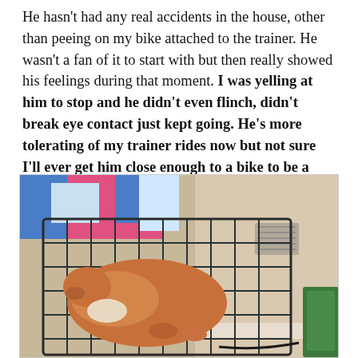He hasn't had any real accidents in the house, other than peeing on my bike attached to the trainer. He wasn't a fan of it to start with but then really showed his feelings during that moment. I was yelling at him to stop and he didn't even flinch, didn't break eye contact just kept going. He's more tolerating of my trainer rides now but not sure I'll ever get him close enough to a bike to be a proper trail dog.
[Figure (photo): A dog inside or near a wire metal crate/cage on a carpeted floor, with colorful items visible in the background and a green object to the right.]